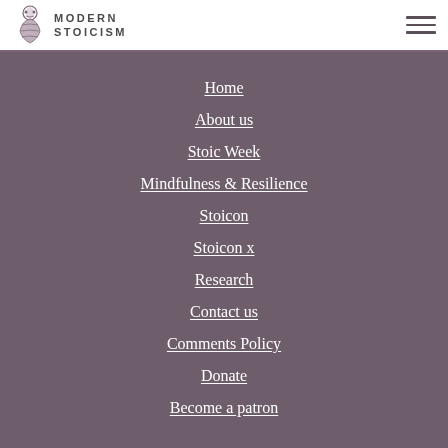MODERN STOICISM
Home
About us
Stoic Week
Mindfulness & Resilience
Stoicon
Stoicon x
Research
Contact us
Comments Policy
Donate
Become a patron